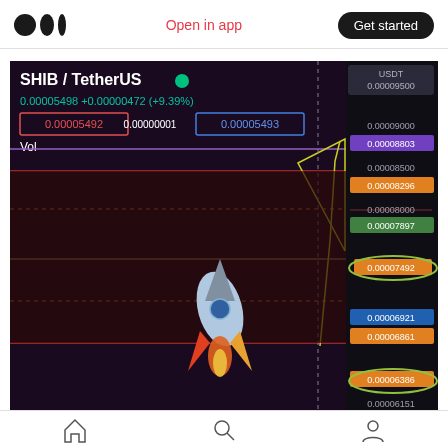Medium logo | Open in app | Get started
[Figure (screenshot): Cryptocurrency trading chart for SHIB/TetherUS showing price 0.00005498 +0.00000472 (+9.39%). Shows values: 0.00005492 (red box), 0.00000001, 0.00005493 (blue box). Price levels shown on right: USDT 0.00009500, 0.00009000, 0.00008803 (purple), 0.00008500, 0.00008296 (orange), 0.00008000, 0.00007897 (green), 0.00007492 (orange, circled), 0.00006921 (blue), 0.00006861 (orange), 0.00006386 (partially visible), 0.00006151 (partially visible). A rocket emoji/icon is visible in the chart area. The chart has a dark background with red/dark candlestick area and a Vol label.]
Home | Search | Profile navigation